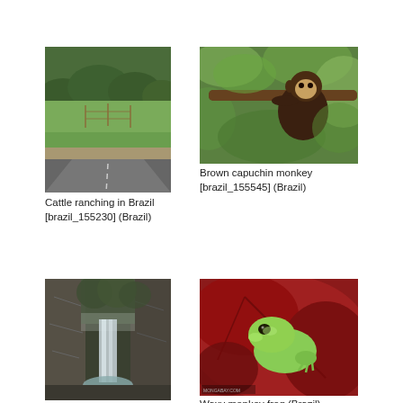[Figure (photo): Cattle ranching in Brazil — green pasture with fence posts, road in foreground, forested hills in background]
Cattle ranching in Brazil [brazil_155230] (Brazil)
[Figure (photo): Brown capuchin monkey sitting in tree branches among green leaves, Brazil]
Brown capuchin monkey [brazil_155545] (Brazil)
[Figure (photo): Waterfall in a forest gorge with rocky cliffs and misty trees, Brazil]
[Figure (photo): Waxy monkey frog on a red leaf, Brazil]
Waxy monkey frog (Brazil)